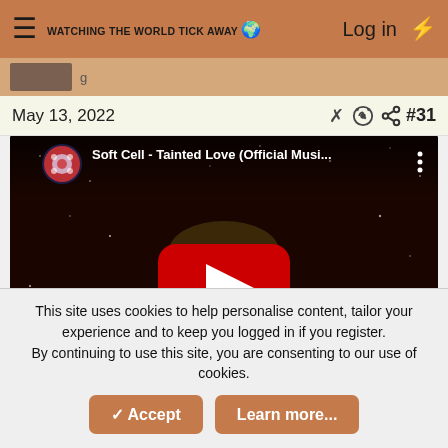WATCHING THE WORLD TICK AWAY | Log in
May 13, 2022   #31
[Figure (screenshot): YouTube video embed showing Soft Cell - Tainted Love (Official Musi... with a man's face against a starry background and a YouTube play button in the center]
This site uses cookies to help personalise content, tailor your experience and to keep you logged in if you register. By continuing to use this site, you are consenting to our use of cookies.